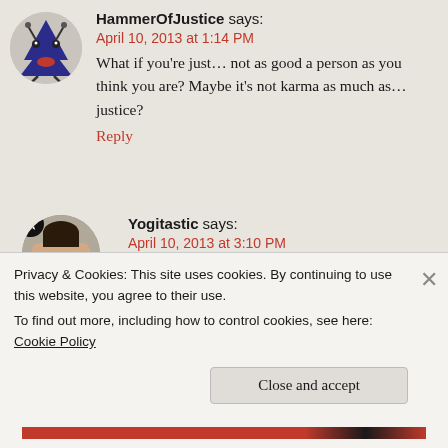HammerOfJustice says: April 10, 2013 at 1:14 PM — What if you're just… not as good a person as you think you are? Maybe it's not karma as much as… justice? Reply
[Figure (illustration): Avatar of HammerOfJustice: a cartoon blue Christmas tree character with eyes and red lips]
Yogitastic says: April 10, 2013 at 3:10 PM — I thought that, too. And I suppose that's possible. And if it is, then I'd hate to see the karma of other people
[Figure (photo): Avatar of Yogitastic: a circular photo of a woman with a star badge overlay]
Privacy & Cookies: This site uses cookies. By continuing to use this website, you agree to their use. To find out more, including how to control cookies, see here: Cookie Policy
Close and accept